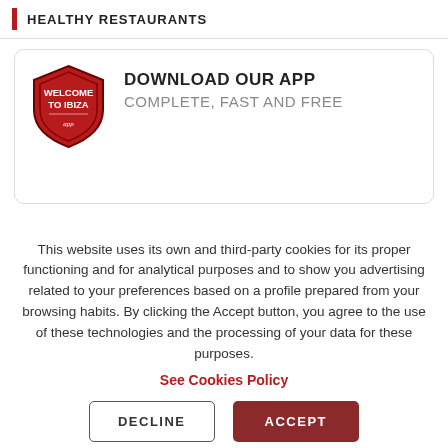HEALTHY RESTAURANTS
[Figure (logo): Welcome to Ibiza app shield logo in red with white text]
DOWNLOAD OUR APP
COMPLETE, FAST AND FREE
This website uses its own and third-party cookies for its proper functioning and for analytical purposes and to show you advertising related to your preferences based on a profile prepared from your browsing habits. By clicking the Accept button, you agree to the use of these technologies and the processing of your data for these purposes. See Cookies Policy
DECLINE
ACCEPT